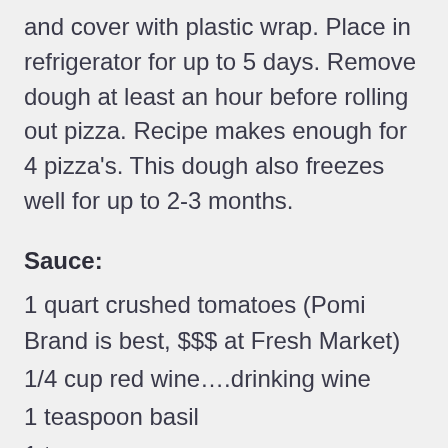and cover with plastic wrap. Place in refrigerator for up to 5 days. Remove dough at least an hour before rolling out pizza. Recipe makes enough for 4 pizza's. This dough also freezes well for up to 2-3 months.
Sauce:
1 quart crushed tomatoes (Pomi Brand is best, $$$ at Fresh Market)
1/4 cup red wine….drinking wine
1 teaspoon basil
1 teaspoon oregano